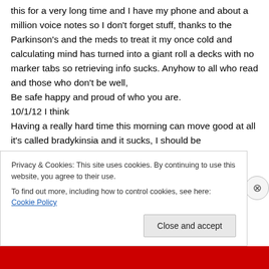this for a very long time and I have my phone and about a million voice notes so I don't forget stuff, thanks to the Parkinson's and the meds to treat it my once cold and calculating mind has turned into a giant roll a decks with no marker tabs so retrieving info sucks. Anyhow to all who read and those who don't be well,
Be safe happy and proud of who you are.
10/1/12 I think
Having a really hard time this morning can move good at all it's called bradykinsia and it sucks, I should be
Privacy & Cookies: This site uses cookies. By continuing to use this website, you agree to their use.
To find out more, including how to control cookies, see here: Cookie Policy